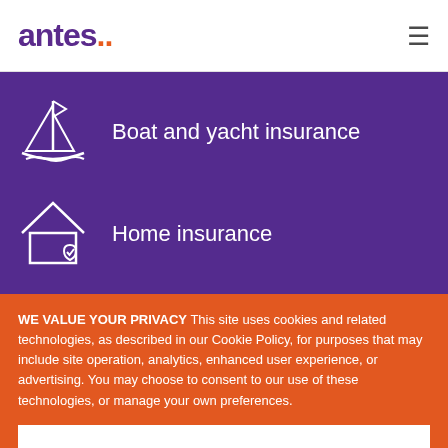antes..
Boat and yacht insurance
Home insurance
WE VALUE YOUR PRIVACY This site uses cookies and related technologies, as described in our Cookie Policy, for purposes that may include site operation, analytics, enhanced user experience, or advertising. You may choose to consent to our use of these technologies, or manage your own preferences.
AGREE & PROCEED